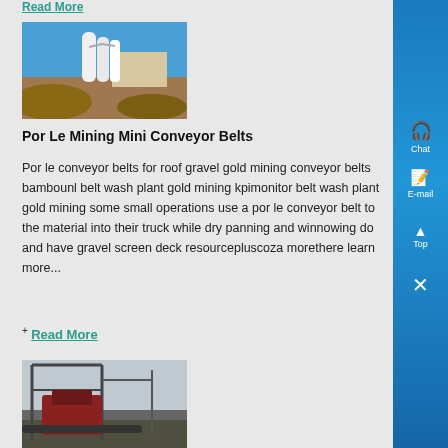Read More
[Figure (photo): Outdoor industrial mining dust collection equipment with white cylindrical filters, beside a pile of gravel/rock, under a blue sky]
Por Le Mining Mini Conveyor Belts
Por le conveyor belts for roof gravel gold mining conveyor belts bambounl belt wash plant gold mining kpimonitor belt wash plant gold mining some small operations use a por le conveyor belt to the material into their truck while dry panning and winnowing do and have gravel screen deck resourcepluscoza morethere learn more...
+ Read More
[Figure (photo): Outdoor heavy machinery / crusher equipment under a steel frame structure]